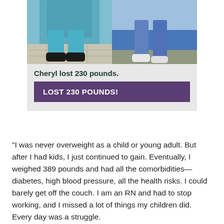[Figure (photo): Before and after photos showing lower body/legs of a person. Left photo shows person in teal scrubs with black shoes on tile floor. Right photo shows person in blue jeans outdoors.]
Cheryl lost 230 pounds.
LOST 230 POUNDS!
“I was never overweight as a child or young adult. But after I had kids, I just continued to gain. Eventually, I weighed 389 pounds and had all the comorbidities—diabetes, high blood pressure, all the health risks. I could barely get off the couch. I am an RN and had to stop working, and I missed a lot of things my children did. Every day was a struggle.